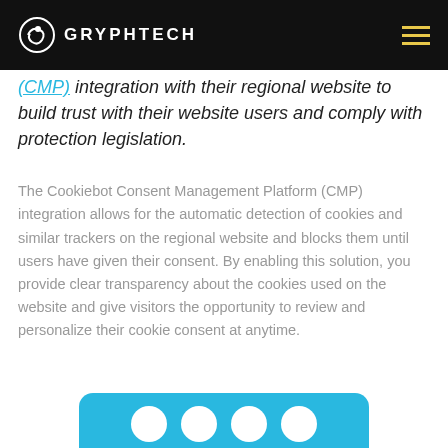GRYPHTECH
(CMP) integration with their regional website to build trust with their website users and comply with protection legislation.
The Cookiebot Consent Management Platform (CMP) integration allows for the automatic detection of cookies and similar trackers on the regional website and blocks them until users have given their consent. By enabling this solution, you provide clear transparency about the cookies used on the website and give visitors the opportunity to review and personalize their cookie consent at anytime.
[Figure (other): Blue rounded panel with white circular dots, partially visible at the bottom of the page, representing the Cookiebot branding or UI element.]